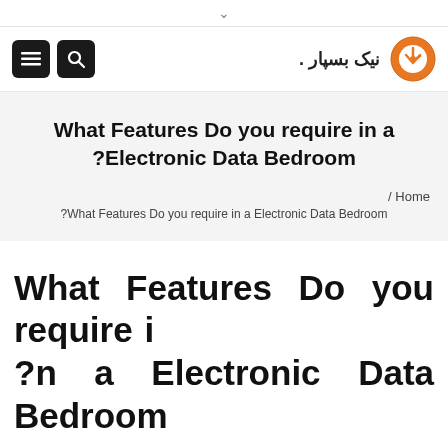↓
[Figure (logo): Navigation bar with hamburger menu icon, search icon on left, Arabic/Persian site name 'نیک بسپار' and orange circular logo on right]
What Features Do you require in a Electronic Data Bedroom?
/ Home
?What Features Do you require in a Electronic Data Bedroom
What Features Do you require in a Electronic Data Bedroom?